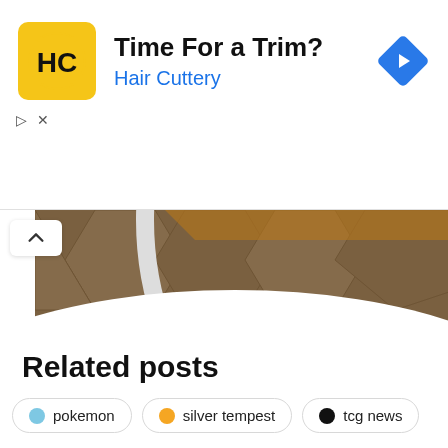[Figure (screenshot): Advertisement banner for Hair Cuttery with yellow logo, text 'Time For a Trim?' and 'Hair Cuttery' in blue, and a blue navigation arrow icon on the right.]
[Figure (photo): Partial view of a Pokemon TCG card showing brown geometric pattern and white border, cut off at the top.]
Related posts
pokemon
silver tempest
tcg news